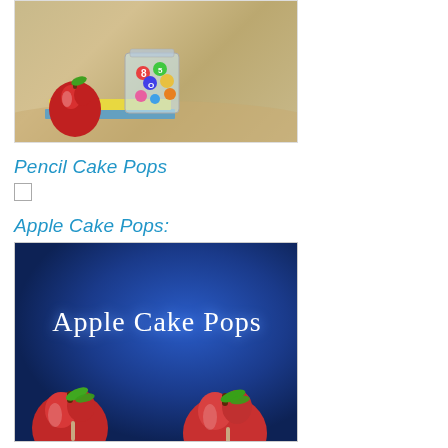[Figure (photo): Photo of a red apple, books, and a jar of colorful magnetic letters/numbers on a round table, school/classroom setting]
Pencil Cake Pops
[Figure (other): Small blank/white checkbox or placeholder image]
Apple Cake Pops:
[Figure (photo): Photo with blue background showing text 'Apple Cake Pops' in decorative white font, with red apple cake pops visible at the bottom]